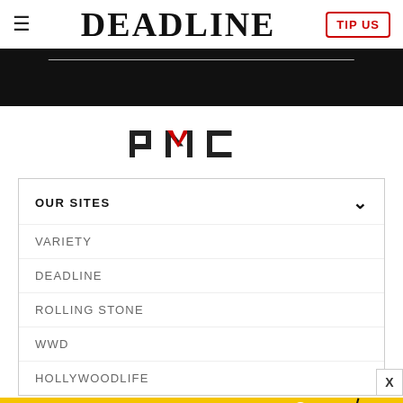≡  DEADLINE  TIP US
[Figure (screenshot): Black banner area with a thin white horizontal line near the top]
[Figure (logo): PMC logo in dark gray with red chevron accent]
OUR SITES
VARIETY
DEADLINE
ROLLING STONE
WWD
HOLLYWOODLIFE
[Figure (screenshot): Yellow advertisement banner: ADJUSTABLE DUMBBELLS / SPY TESTED & REVIEWED with SPY logo]